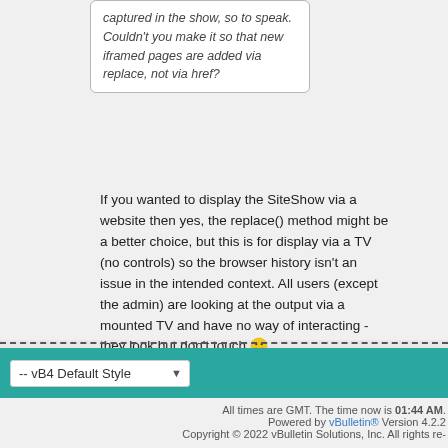captured in the show, so to speak. Couldn't you make it so that new iframed pages are added via replace, not via href?
If you wanted to display the SiteShow via a website then yes, the replace() method might be a better choice, but this is for display via a TV (no controls) so the browser history isn't an issue in the intended context. All users (except the admin) are looking at the output via a mounted TV and have no way of interacting - they look but don't touch 😊
-- vB4 Default Style
All times are GMT. The time now is 01:44 AM.
Powered by vBulletin® Version 4.2.2 Copyright © 2022 vBulletin Solutions, Inc. All rights re-